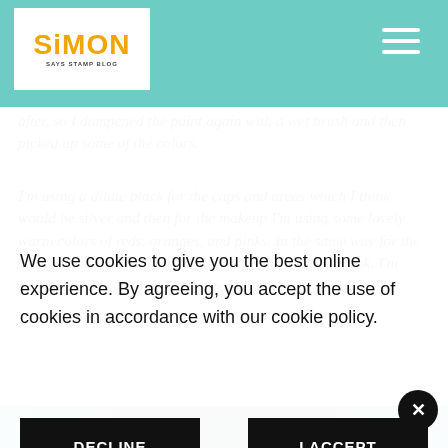Simon Says Stamp Blog
after, so I dampened the paint again with a wet brush and then picked up some of the colors.
I'm using a dilute black for the caps and areas which I think would be silver and then for the makeup I'm using some lovely warm colors of reds, oranges, and pinks. In the same way for the background, I'm really trying not to go for a precise look, I'm adding blocks of color and not painting
We use cookies to give you the best online experience. By agreeing, you accept the use of cookies in accordance with our cookie policy.
DECLINE
I ACCEPT
Privacy Policy   Cookie Policy
[Figure (photo): Bottom partial image of craft/stamp supplies in teal and dark tones]